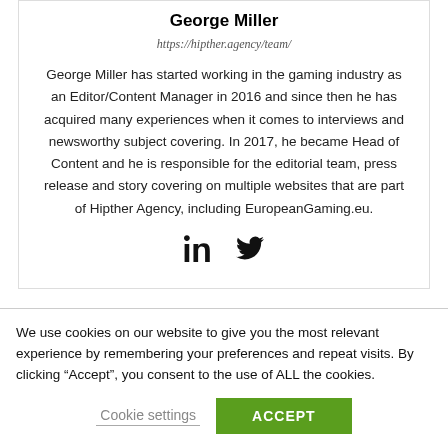George Miller
https://hipther.agency/team/
George Miller has started working in the gaming industry as an Editor/Content Manager in 2016 and since then he has acquired many experiences when it comes to interviews and newsworthy subject covering. In 2017, he became Head of Content and he is responsible for the editorial team, press release and story covering on multiple websites that are part of Hipther Agency, including EuropeanGaming.eu.
[Figure (illustration): LinkedIn and Twitter social media icons]
We use cookies on our website to give you the most relevant experience by remembering your preferences and repeat visits. By clicking “Accept”, you consent to the use of ALL the cookies.